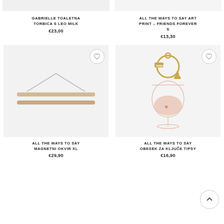GABRIELLE TOALETNA TORBICA S LEO MILK
€23,00
ALL THE WAYS TO SAY ART PRINT – FRIENDS FOREVER S
€13,30
[Figure (photo): Wooden magnetic poster hanger frame XL on light gray background with heart/wishlist button]
ALL THE WAYS TO SAY MAGNETNI OKVIR XL
€29,90
[Figure (photo): Gold keychain with wine glass charm and dancing figure - Tipsy keychain on light gray background with heart/wishlist button]
ALL THE WAYS TO SAY OBESEK ZA KLJUČE TIPSY
€16,90